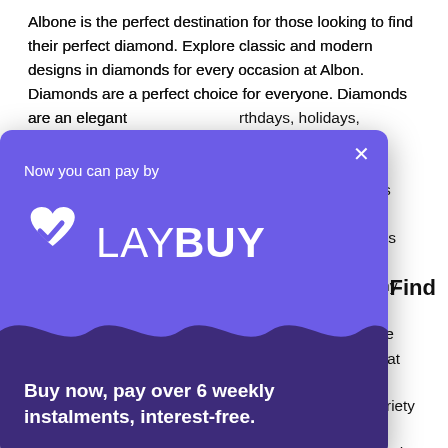Albone is the perfect destination for those looking to find their perfect diamond. Explore classic and modern designs in diamonds for every occasion at Albon. Diamonds are a perfect choice for everyone. Diamonds are an elegant …birthdays, holidays, …which is perfect …diamonds can be …with any outfit. …Albone store.
[Figure (infographic): LayBuy payment modal popup with purple background. Top section in medium purple (#6c5ce7) shows 'Now you can pay by' text and the LayBuy logo (white checkmark-heart icon and LAYBUY text). Bottom section in dark purple (#3d2b7a) shows 'Buy now, pay over 6 weekly instalments, interest-free.' A close X button is in the top right corner. A wave divider separates the two sections.]
…o Find
…jewelry that will fit …in a variety of …s. Diamonds can …y, such as rings, …nd diamonds. Now that you know how diamonds fit into your everyday wardrobe and what to buy with Diamond Jewelry, it's time to browse diamond jewelry at Albone jewellers